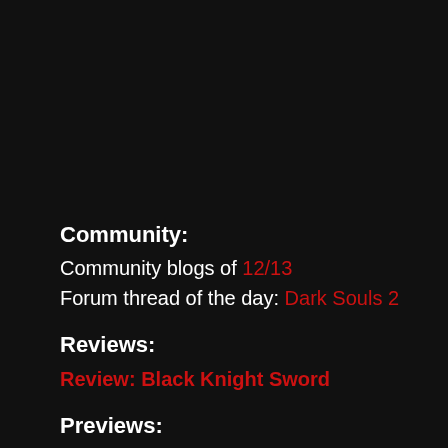Community:
Community blogs of 12/13
Forum thread of the day: Dark Souls 2
Reviews:
Review: Black Knight Sword
Previews:
Demo Jimpressions: Rayman Legends
OH BOY! Dead Space 3 will have Kinect voice